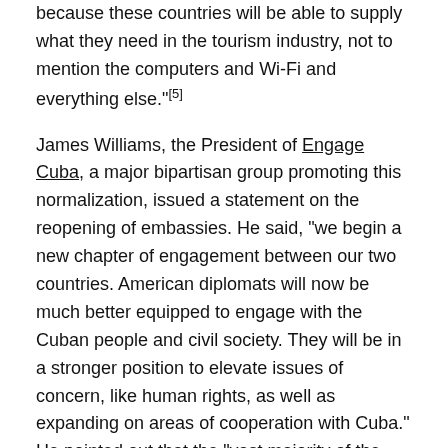because these countries will be able to supply what they need in the tourism industry, not to mention the computers and Wi-Fi and everything else."[5]
James Williams, the President of Engage Cuba, a major bipartisan group promoting this normalization, issued a statement on the reopening of embassies. He said, “we begin a new chapter of engagement between our two countries. American diplomats will now be much better equipped to engage with the Cuban people and civil society. They will be in a stronger position to elevate issues of concern, like human rights, as well as expanding on areas of cooperation with Cuba.” He pointed out that the “vast majority of the American people, and 97% of the Cuban people support opening relations. We applaud both governments for taking this important step to move forward beyond the Cold War policies of the past and call on Congress to play a constructive role at this historic moment of transition."[6]